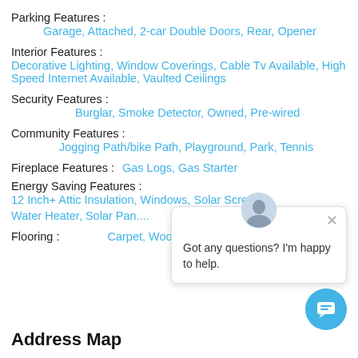Parking Features : Garage, Attached, 2-car Double Doors, Rear, Opener
Interior Features : Decorative Lighting, Window Coverings, Cable Tv Available, High Speed Internet Available, Vaulted Ceilings
Security Features : Burglar, Smoke Detector, Owned, Pre-wired
Community Features : Jogging Path/bike Path, Playground, Park, Tennis
Fireplace Features : Gas Logs, Gas Starter
Energy Saving Features : 12 Inch+ Attic Insulation, Windows, Solar Screens, Water Heater, Solar Pan...
Flooring : Carpet, Wood, Ceramic Tile
Address Map